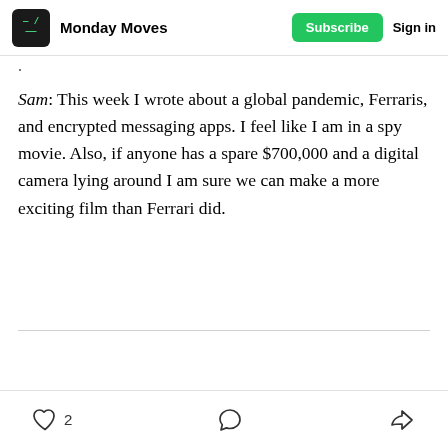Monday Moves | Subscribe | Sign in
Sam: This week I wrote about a global pandemic, Ferraris, and encrypted messaging apps. I feel like I am in a spy movie. Also, if anyone has a spare $700,000 and a digital camera lying around I am sure we can make a more exciting film than Ferrari did.
2 likes | comment | share